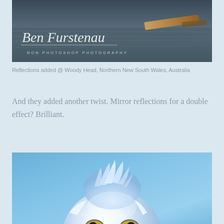[Figure (photo): Photography watermark banner showing 'Ben Furstenau — NON PHOTOSHOP PHOTOGRAPHY' over a dark water/beach scene with a stick or branch on the right side]
Reflections added @ Woody Head, Northern New South Wales, Australia
And they added another twist. Mirror reflections for a double effect? Brilliant.
[Figure (photo): Close-up photograph of a bird (heron or egret) viewed from above/front, showing blue-grey feathered head with crest, and two yellow eyes with dark pupils, against a blue sky background]